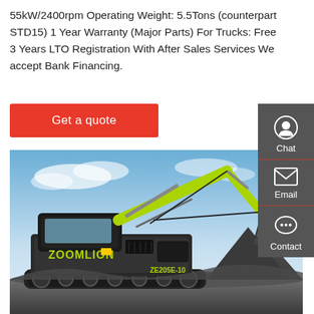55kW/2400rpm Operating Weight: 5.5Tons (counterpart STD15) 1 Year Warranty (Major Parts) For Trucks: Free 3 Years LTO Registration With After Sales Services We accept Bank Financing.
[Figure (other): Red 'Get a quote' button]
[Figure (other): Sidebar with Chat, Email, and Contact icons on dark grey background]
[Figure (photo): Photo of a Zoomlion ZE205E-10 excavator with yellow-green boom arm against a blue sky background]